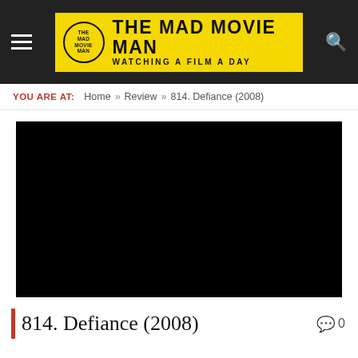THE MAD MOVIE MAN — WATCHING A FILM A DAY
YOU ARE AT: Home » Review » 814. Defiance (2008)
[Figure (photo): Black video/image placeholder for the movie Defiance (2008)]
814. Defiance (2008)